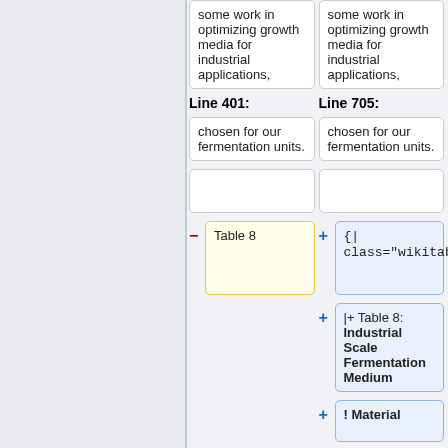some work in optimizing growth media for industrial applications,
some work in optimizing growth media for industrial applications,
Line 401:
Line 705:
chosen for our fermentation units.
chosen for our fermentation units.
Table 8
{|
class="wikitable"
|+ Table 8: Industrial Scale Fermentation Medium
! Material
! Price ($/kg)
! Concentratino (g/L)